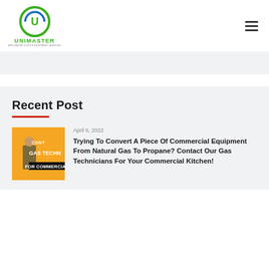[Figure (logo): Unimaster logo — circular green icon with U letter, green UNIMASTER text, small subtitle 'Appliances & Food Equipment Services']
[Figure (screenshot): Gray navigation banner area]
Recent Post
[Figure (photo): Thumbnail image of a gas technician for commercial kitchens, yellow background with text 'GAS TECHN... FOR COMMERCIAL']
April 6, 2022
Trying To Convert A Piece Of Commercial Equipment From Natural Gas To Propane? Contact Our Gas Technicians For Your Commercial Kitchen!